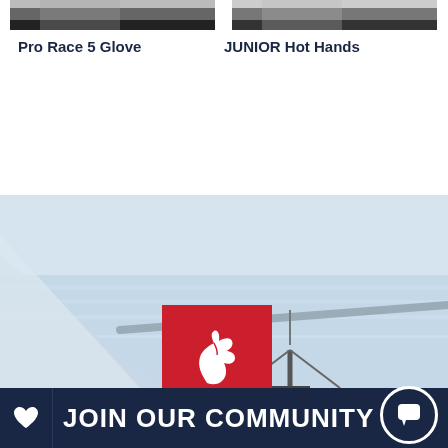[Figure (photo): Cropped top portion of black ski glove product image (Pro Race 5 Glove)]
[Figure (photo): Cropped top portion of black ski glove product image (JUNIOR Hot Hands)]
Pro Race 5 Glove
JUNIOR Hot Hands
[Figure (photo): Sailing boat hull and mast on water, light blue sky and sea background, with Rooster red logo box overlay]
JOIN OUR COMMUNITY